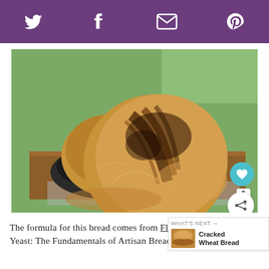Social share bar with Twitter, Facebook, Email, Pinterest icons
[Figure (photo): Two rustic artisan sourdough bread loaves on a wooden cutting board and wire rack, one in a dark cast iron pan, photographed outdoors with green background]
The formula for this bread comes from Flour Water Salt Yeast: The Fundamentals of Artisan Bread a
[Figure (other): What's Next promotional box showing 'Cracked Wheat Bread' with thumbnail image]